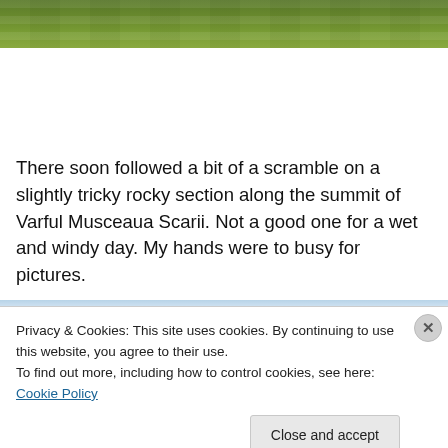[Figure (photo): Green grassy hillside or meadow, cropped showing only the top portion of the image]
There soon followed a bit of a scramble on a slightly tricky rocky section along the summit of Varful Musceaua Scarii. Not a good one for a wet and windy day. My hands were to busy for pictures.
Privacy & Cookies: This site uses cookies. By continuing to use this website, you agree to their use.
To find out more, including how to control cookies, see here: Cookie Policy
Close and accept